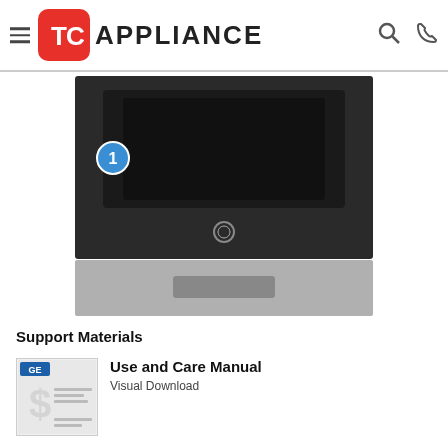TC APPLIANCE
[Figure (photo): Front view of a GE black wall oven with a large oven window, a circular logo emblem, and a silver drawer at the bottom. A blue circle with number '1' is annotated on the left side of the appliance.]
Support Materials
[Figure (photo): Thumbnail image of the Use and Care Manual booklet cover showing GE branding and a dollar sign graphic.]
Use and Care Manual
Visual Download